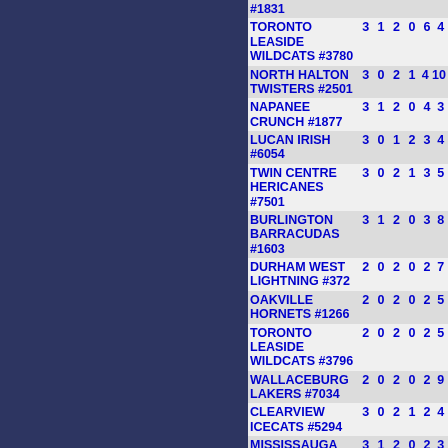| Team | GP | W | L | OTL | PTS |
| --- | --- | --- | --- | --- | --- |
| #1831 |  |  |  |  |  |
| TORONTO LEASIDE WILDCATS #3780 | 3 | 1 | 2 | 0 | 6  4 |
| NORTH HALTON TWISTERS #2501 | 3 | 0 | 2 | 1 | 4  10 |
| NAPANEE CRUNCH #1877 | 3 | 1 | 2 | 0 | 4  3 |
| LUCAN IRISH #6054 | 3 | 0 | 1 | 2 | 3  4 |
| TWIN CENTRE HERICANES #7501 | 3 | 0 | 2 | 1 | 3  5 |
| BURLINGTON BARRACUDAS #1603 | 3 | 1 | 2 | 0 | 3  8 |
| DURHAM WEST LIGHTNING #372 | 2 | 0 | 2 | 0 | 2  7 |
| OAKVILLE HORNETS #1266 | 2 | 0 | 2 | 0 | 2  5 |
| TORONTO LEASIDE WILDCATS #3796 | 2 | 0 | 2 | 0 | 2  5 |
| WALLACEBURG LAKERS #7034 | 2 | 0 | 2 | 0 | 2  9 |
| CLEARVIEW ICECATS #5294 | 3 | 0 | 2 | 1 | 2  4 |
| MISSISSAUGA CHIEFS #5869 | 3 | 1 | 2 | 0 | 2  3 |
| ENNISMORE EAGLES #6462 | 2 | 0 | 2 | 0 | 1  4 |
| KITCHENER LADY RANGERS #2747 | 3 | 0 | 2 | 1 | 1  10 |
| WEST NORTHUMBERLAND WILD #4185 | 3 | 0 | 2 | 1 | 1  6 |